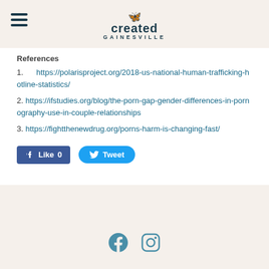Created Gainesville
References
1. https://polarisproject.org/2018-us-national-human-trafficking-hotline-statistics/
2. https://ifstudies.org/blog/the-porn-gap-gender-differences-in-pornography-use-in-couple-relationships
3. https://fightthenewdrug.org/porns-harm-is-changing-fast/
[Figure (other): Facebook Like button (0 likes) and Twitter Tweet button]
Facebook and Instagram social media icons